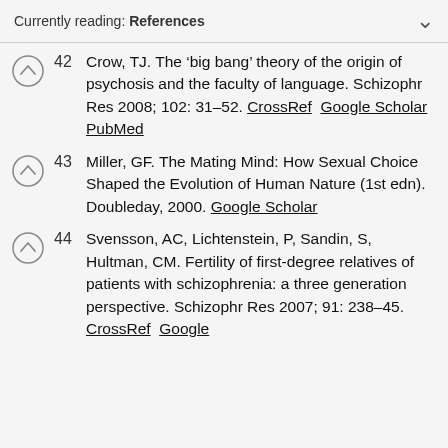Currently reading: References
42 Crow, TJ. The ‘big bang’ theory of the origin of psychosis and the faculty of language. Schizophr Res 2008; 102: 31–52. CrossRef Google Scholar PubMed
43 Miller, GF. The Mating Mind: How Sexual Choice Shaped the Evolution of Human Nature (1st edn). Doubleday, 2000. Google Scholar
44 Svensson, AC, Lichtenstein, P, Sandin, S, Hultman, CM. Fertility of first-degree relatives of patients with schizophrenia: a three generation perspective. Schizophr Res 2007; 91: 238–45. CrossRef Google